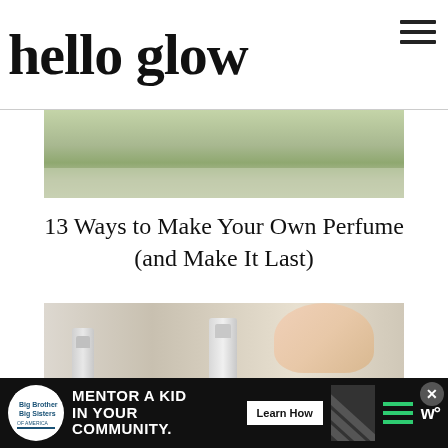hello glow
[Figure (photo): Partial view of a decorative item with tassels and greenery on a light background]
13 Ways to Make Your Own Perfume (and Make It Last)
[Figure (photo): A hand pressing down on a spray bottle cap, with two spray bottles visible on a neutral background]
[Figure (photo): Advertisement banner: Big Brothers Big Sisters - Mentor a Kid in Your Community. Learn How button. Diagonal stripe graphic, green lines, and W logo.]